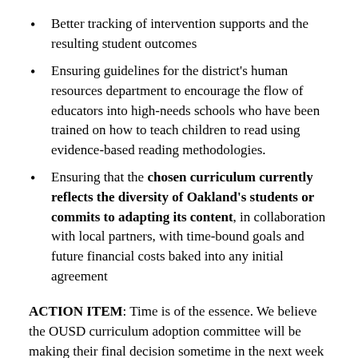Better tracking of intervention supports and the resulting student outcomes
Ensuring guidelines for the district's human resources department to encourage the flow of educators into high-needs schools who have been trained on how to teach children to read using evidence-based reading methodologies.
Ensuring that the chosen curriculum currently reflects the diversity of Oakland's students or commits to adapting its content, in collaboration with local partners, with time-bound goals and future financial costs baked into any initial agreement
ACTION ITEM: Time is of the essence. We believe the OUSD curriculum adoption committee will be making their final decision sometime in the next week or two. For those of you who did not send a letter of support for the petition to the Board